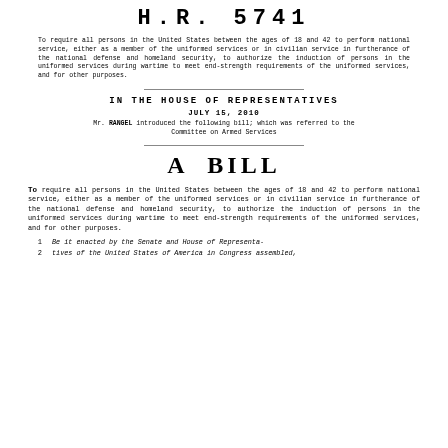H.R. 5741
To require all persons in the United States between the ages of 18 and 42 to perform national service, either as a member of the uniformed services or in civilian service in furtherance of the national defense and homeland security, to authorize the induction of persons in the uniformed services during wartime to meet end-strength requirements of the uniformed services, and for other purposes.
IN THE HOUSE OF REPRESENTATIVES
JULY 15, 2010
Mr. RANGEL introduced the following bill; which was referred to the Committee on Armed Services
A BILL
To require all persons in the United States between the ages of 18 and 42 to perform national service, either as a member of the uniformed services or in civilian service in furtherance of the national defense and homeland security, to authorize the induction of persons in the uniformed services during wartime to meet end-strength requirements of the uniformed services, and for other purposes.
1   Be it enacted by the Senate and House of Representatives
2   tives of the United States of America in Congress assembled,